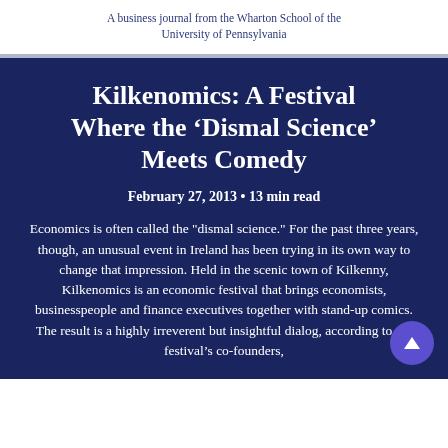A business journal from the Wharton School of the University of Pennsylvania
Kilkenomics: A Festival Where the ‘Dismal Science’ Meets Comedy
February 27, 2013 • 13 min read
Economics is often called the "dismal science." For the past three years, though, an unusual event in Ireland has been trying in its own way to change that impression. Held in the scenic town of Kilkenny, Kilkenomics is an economic festival that brings economists, businesspeople and finance executives together with stand-up comics. The result is a highly irreverent but insightful dialog, according to the festival’s co-founders,